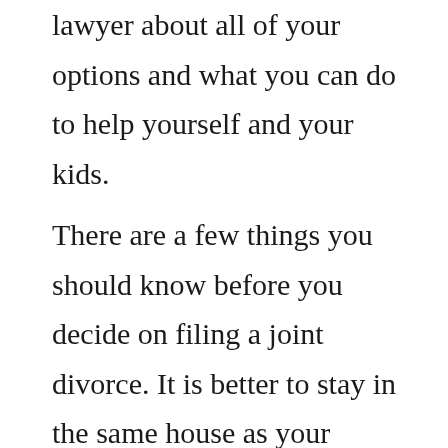lawyer about all of your options and what you can do to help yourself and your kids.
There are a few things you should know before you decide on filing a joint divorce. It is better to stay in the same house as your spouse until you are ready to separate. If you and your spouse have children, then it would be best if you live apart until you get your divorce papers signed and are separated